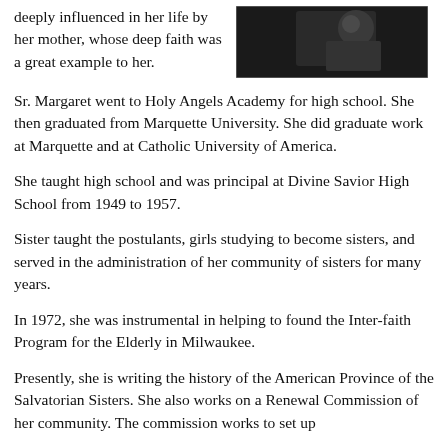deeply influenced in her life by her mother, whose deep faith was a great example to her.
[Figure (photo): Black and white photograph of a person, partial view, dark background.]
Sr. Margaret went to Holy Angels Academy for high school. She then graduated from Marquette University. She did graduate work at Marquette and at Catholic University of America.
She taught high school and was principal at Divine Savior High School from 1949 to 1957.
Sister taught the postulants, girls studying to become sisters, and served in the administration of her community of sisters for many years.
In 1972, she was instrumental in helping to found the Inter-faith Program for the Elderly in Milwaukee.
Presently, she is writing the history of the American Province of the Salvatorian Sisters. She also works on a Renewal Commission of her community. The commission works to set up